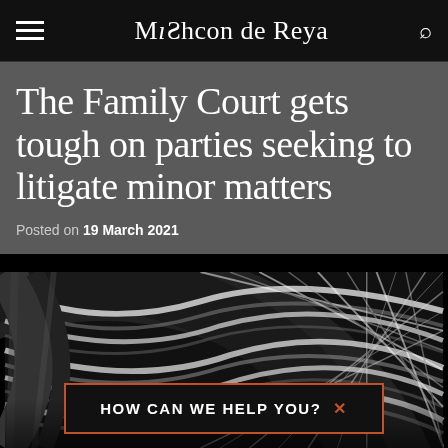Mishcon de Reya
The Family Court gets tough on parties seeking to litigate minor matters
Posted on 19 March 2021
[Figure (photo): Abstract black and white close-up photograph of braided or woven cables/wires forming curved spiral patterns]
HOW CAN WE HELP YOU? ✕